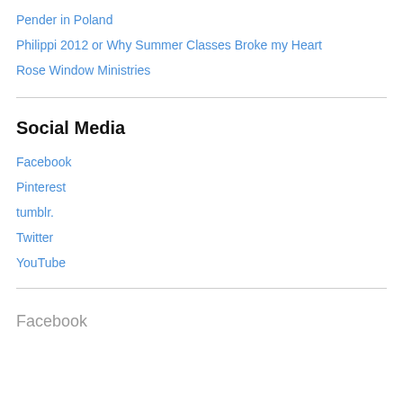Pender in Poland
Philippi 2012 or Why Summer Classes Broke my Heart
Rose Window Ministries
Social Media
Facebook
Pinterest
tumblr.
Twitter
YouTube
Facebook
Bible Bible Study bible children chair Christ